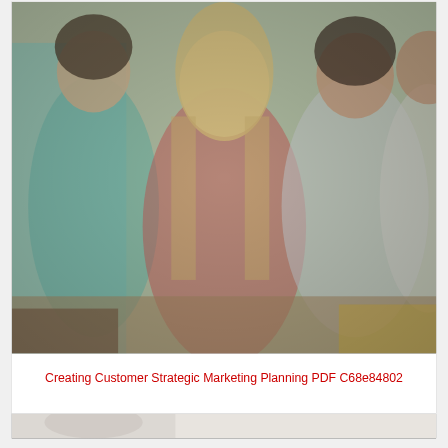[Figure (photo): Group of smiling young people (students) sitting together, blurred/soft-focus photo. A blonde woman is in the center, flanked by other students. Warm, social setting.]
Creating Customer Strategic Marketing Planning PDF C68e84802
[Figure (photo): Partially visible second photo at the bottom of the page, appears to show a light-colored background, cropped.]